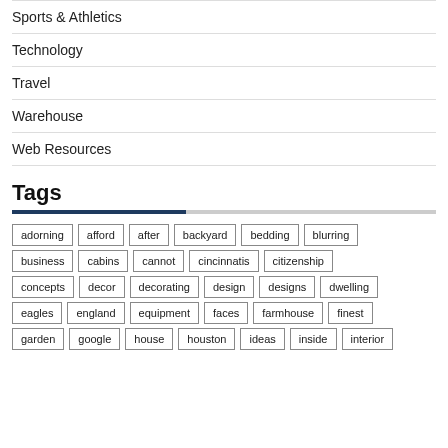Sports & Athletics
Technology
Travel
Warehouse
Web Resources
Tags
adorning afford after backyard bedding blurring business cabins cannot cincinnatis citizenship concepts decor decorating design designs dwelling eagles england equipment faces farmhouse finest garden google house houston ideas inside interior